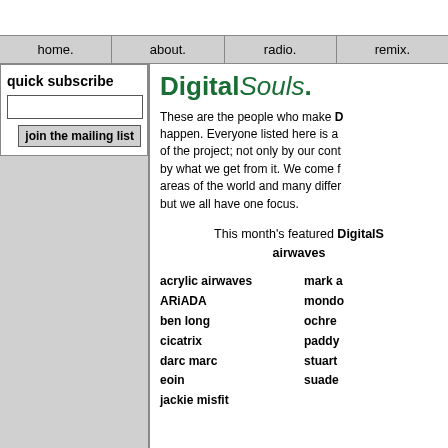home. | about. | radio. | remix.
quick subscribe
join the mailing list
DigitalSouls.
These are the people who make D happen. Everyone listed here is a of the project; not only by our cont by what we get from it. We come f areas of the world and many differ but we all have one focus.
This month's featured DigitalS airwaves
acrylic airwaves
ARiADA
ben long
cicatrix
darc marc
eoin
jackie misfit
mark a
mondo
ochre
paddy
stuart
suade